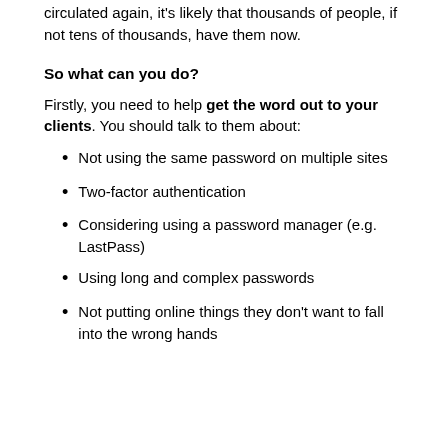circulated again, it's likely that thousands of people, if not tens of thousands, have them now.
So what can you do?
Firstly, you need to help get the word out to your clients. You should talk to them about:
Not using the same password on multiple sites
Two-factor authentication
Considering using a password manager (e.g. LastPass)
Using long and complex passwords
Not putting online things they don't want to fall into the wrong hands